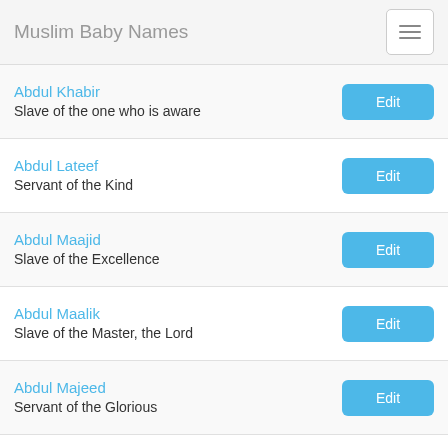Muslim Baby Names
Abdul Khabir
Slave of the one who is aware
Abdul Lateef
Servant of the Kind
Abdul Maajid
Slave of the Excellence
Abdul Maalik
Slave of the Master, the Lord
Abdul Majeed
Servant of the Glorious
Abdul Mani
Slave of one who prevents
Abdul Mannan
Slave of the Benefactor